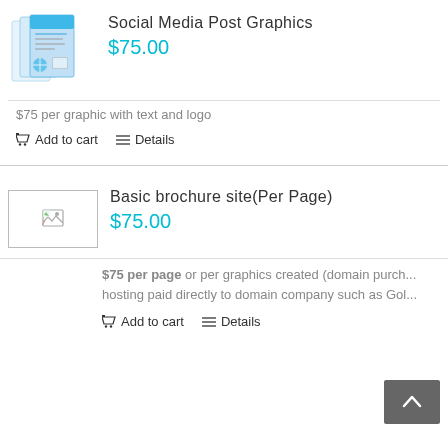[Figure (illustration): Social media post graphics product thumbnail showing pamphlet/brochure design with blue accents]
Social Media Post Graphics
$75.00
$75 per graphic with text and logo
Add to cart   Details
[Figure (photo): Broken image placeholder for Basic brochure site product]
Basic brochure site(Per Page)
$75.00
$75 per page or per graphics created (domain purch... hosting paid directly to domain company such as Gol...
Add to cart   Details